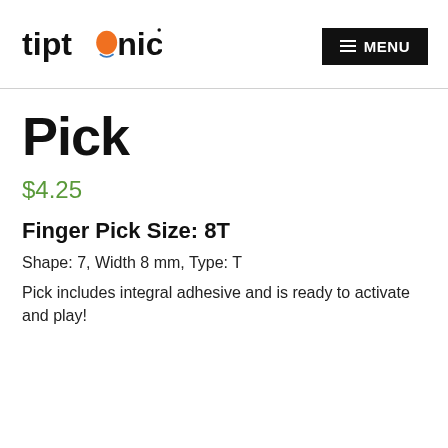tiptonic MENU
Pick
$4.25
Finger Pick Size: 8T
Shape: 7, Width 8 mm, Type: T
Pick includes integral adhesive and is ready to activate and play!